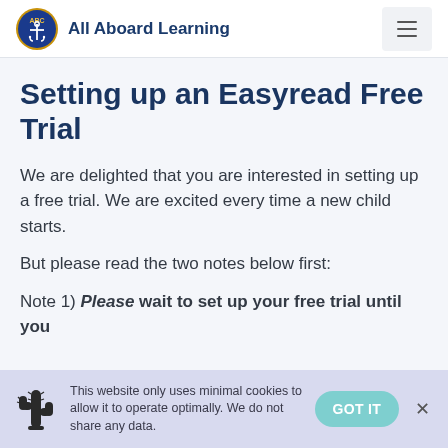All Aboard Learning
Setting up an Easyread Free Trial
We are delighted that you are interested in setting up a free trial. We are excited every time a new child starts.
But please read the two notes below first:
Note 1) Please wait to set up your free trial until you
This website only uses minimal cookies to allow it to operate optimally. We do not share any data.